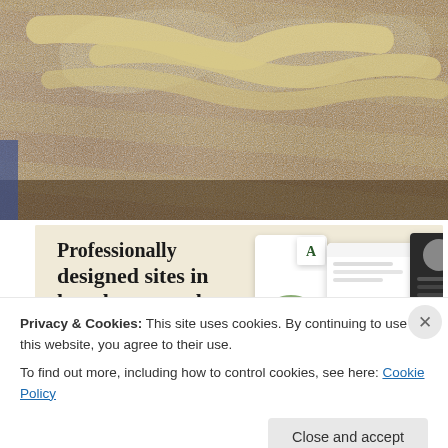[Figure (photo): Close-up photo of breaded food items (likely chicken) with creamy sauce on top, filling the upper portion of the page]
[Figure (screenshot): Advertisement banner with cream/beige background showing text 'Professionally designed sites in less than a week', a green 'Explore options' button, and website design mockup screenshots on the right side]
Privacy & Cookies: This site uses cookies. By continuing to use this website, you agree to their use.
To find out more, including how to control cookies, see here: Cookie Policy
Close and accept